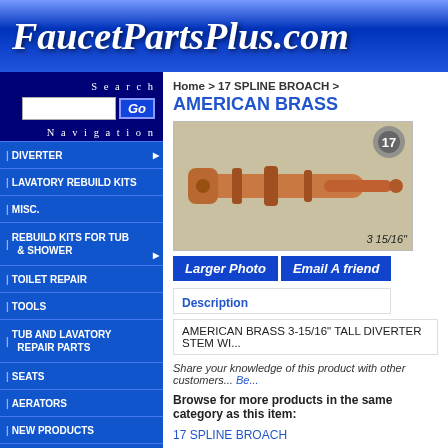FaucetPartsPlus.com
Search
DIVERTER
LAVATORY REBUILD KITS
MISC.
REBUILD KITS FOR TUB & SHOWER
TOILET REPAIR
TOOLS
TUB AND LAVATORY REPAIR PARTS
SEATS
AERATORS
NEW PRODUCTS
METAL HANDLES
ACRYLIC HANDLES
CARTRIDGES
CERAMIC CARTRIDGES
CERAMIC STEMS
ESCUTCHEONS
FAUCETS
HANDLE CAPS
Home > 17 SPLINE BROACH >
AMERICAN BRASS
[Figure (photo): American Brass 3-15/16 inch tall diverter stem product photo showing a brass/copper colored cylindrical stem component with gear icon labeled 17 in top right corner and measurement 3 15/16 in bottom right]
Larger Photo   Email A friend
Description
AMERICAN BRASS 3-15/16" TALL DIVERTER STEM WI...
Share your knowledge of this product with other customers... Be...
Browse for more products in the same category as this item:
17 SPLINE BROACH
CARTRIDGES
NEW PRODUCTS
DIVERTER
STEMS 3 1/2" - 4 1/2"